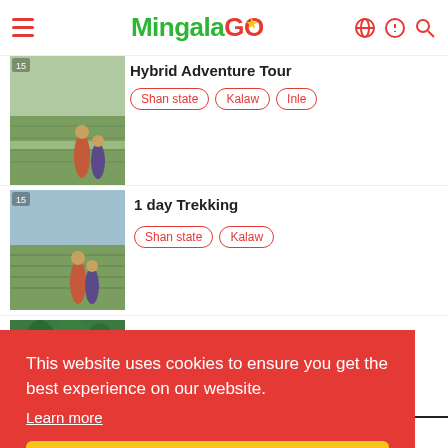MingalaGO
[Figure (screenshot): Partial tour listing: Hybrid Adventure Tour with tags Shan state, Kalaw, Inle]
Hybrid Adventure Tour
Shan state  Kalaw  Inle
[Figure (photo): Photo of trekkers in rice paddies]
1 day Trekking
Shan state  Kalaw
[Figure (photo): Photo of trekkers near waterfalls and green trees]
3-Day 2-Night Trekking to Waterfalls (Kalaw to Pin
This website uses cookies to ensure you get the best experience on our website.
Learn more
Got it!
DESTINATIONS    INTERESTS